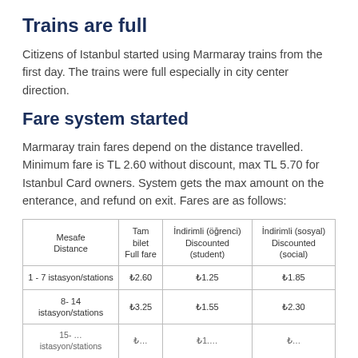Trains are full
Citizens of Istanbul started using Marmaray trains from the first day. The trains were full especially in city center direction.
Fare system started
Marmaray train fares depend on the distance travelled. Minimum fare is TL 2.60 without discount, max TL 5.70 for Istanbul Card owners. System gets the max amount on the enterance, and refund on exit. Fares are as follows:
| Mesafe
Distance | Tam bilet
Full fare | İndirimli (öğrenci)
Discounted (student) | İndirimli (sosyal)
Discounted (social) |
| --- | --- | --- | --- |
| 1 - 7 istasyon/stations | ₺2.60 | ₺1.25 | ₺1.85 |
| 8- 14 istasyon/stations | ₺3.25 | ₺1.55 | ₺2.30 |
| 15- … | ₺… | ₺1.… | ₺… |